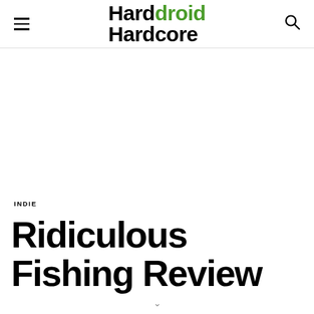HardDroid Hardcore
INDIE
Ridiculous Fishing Review